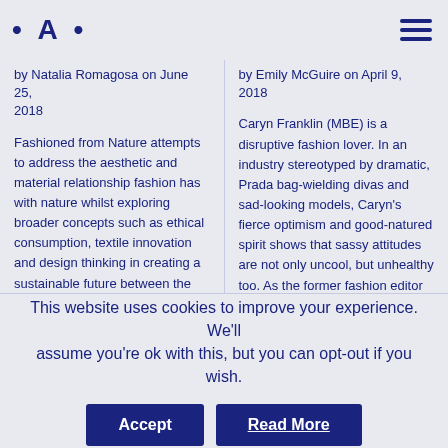• A •
by Natalia Romagosa on June 25, 2018
Fashioned from Nature attempts to address the aesthetic and material relationship fashion has with nature whilst exploring broader concepts such as ethical consumption, textile innovation and design thinking in creating a sustainable future between the two. Natalia Romagosa visited the display in London …read more
by Emily McGuire on April 9, 2018
Caryn Franklin (MBE) is a disruptive fashion lover. In an industry stereotyped by dramatic, Prada bag-wielding divas and sad-looking models, Caryn's fierce optimism and good-natured spirit shows that sassy attitudes are not only uncool, but unhealthy too. As the former fashion editor of i-D during the '80s, she has since focused on identity politics and the power of fashion to create positive narratives about individuality. In this fifth instalment
This website uses cookies to improve your experience. We'll assume you're ok with this, but you can opt-out if you wish.